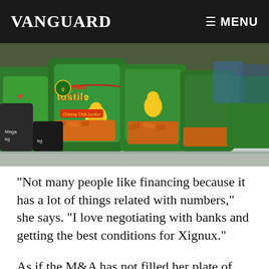VANGUARD  ≡ MENU
[Figure (photo): Shelf display of green Tostiles snack chip bags with orange chips visible, store retail display]
“Not many people like financing because it has a lot of things related with numbers,” she says. “I love negotiating with banks and getting the best conditions for Xignux.”
As if the M&A has not filled her plate of late, Villarreal has also been busy ensuring Xignux is